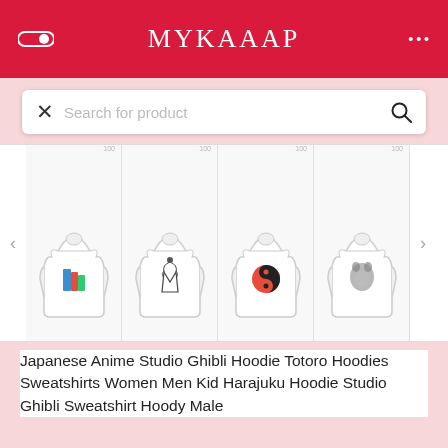MYKAAAP
Search for product
[Figure (photo): Four white hoodie product thumbnails shown in a horizontally scrollable row, each featuring different Japanese anime / Studio Ghibli themed graphic prints]
Japanese Anime Studio Ghibli Hoodie Totoro Hoodies Sweatshirts Women Men Kid Harajuku Hoodie Studio Ghibli Sweatshirt Hoody Male
★★★★☆ (1)
Seller: Shop BTS
$19.19  $21.19  9.44% off
Size
M
L
XL